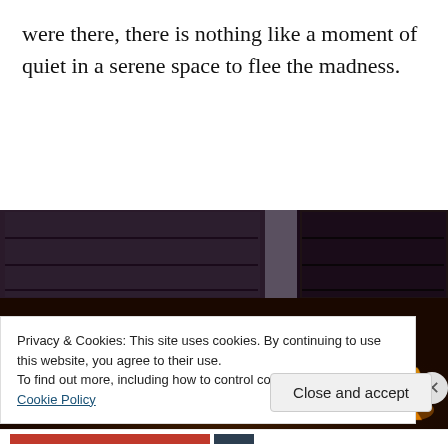were there, there is nothing like a moment of quiet in a serene space to flee the madness.
[Figure (photo): Interior photo showing ornate golden decorative ironwork railings with fleur-de-lis style patterns, illuminated from below with warm amber light, with dark bookshelves or panels visible in the background.]
Privacy & Cookies: This site uses cookies. By continuing to use this website, you agree to their use.
To find out more, including how to control cookies, see here: Cookie Policy
Close and accept